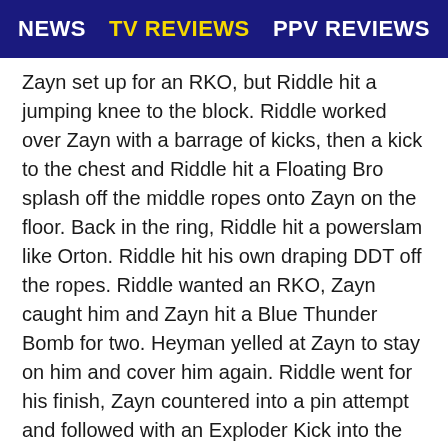NEWS | TV REVIEWS | PPV REVIEWS
Zayn set up for an RKO, but Riddle hit a jumping knee to the block. Riddle worked over Zayn with a barrage of kicks, then a kick to the chest and Riddle hit a Floating Bro splash off the middle ropes onto Zayn on the floor. Back in the ring, Riddle hit a powerslam like Orton. Riddle hit his own draping DDT off the ropes. Riddle wanted an RKO, Zayn caught him and Zayn hit a Blue Thunder Bomb for two. Heyman yelled at Zayn to stay on him and cover him again. Riddle went for his finish, Zayn countered into a pin attempt and followed with an Exploder Kick into the turnbuckle. Zayn charged... Riddle caught him and hit an RKO for the pinfall win after 14 minutes.
Winner by pinfall: Riddle